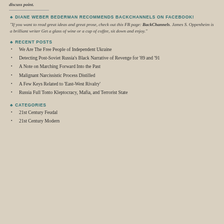discuss point.
♣ DIANE WEBER BEDERMAN RECOMMENDS BACKCHANNELS ON FACEBOOK!
"If you want to read great ideas and great prose, check out this FB page: BackChannels. James S. Oppenheim is a brilliant writer Get a glass of wine or a cup of coffee, sit down and enjoy."
♣ RECENT POSTS
We Are The Free People of Independent Ukraine
Detecting Post-Soviet Russia's Black Narrative of Revenge for '89 and '91
A Note on Marching Forward Into the Past
Malignant Narcissistic Process Distilled
A Few Keys Related to 'East-West Rivalry'
Russia Full Tonto Kleptocracy, Mafia, and Terrorist State
♣ CATEGORIES
21st Century Feudal
21st Century Modern